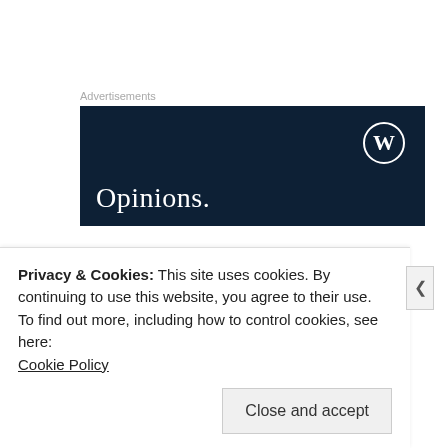Advertisements
[Figure (screenshot): Dark navy blue advertisement banner with WordPress logo (W in circle) in top-right corner and the word 'Opinions.' in large white serif text at bottom-left]
Felicia Denise
on August 14, 2017 at 5:06 am
Privacy & Cookies: This site uses cookies. By continuing to use this website, you agree to their use.
To find out more, including how to control cookies, see here:
Cookie Policy
Close and accept